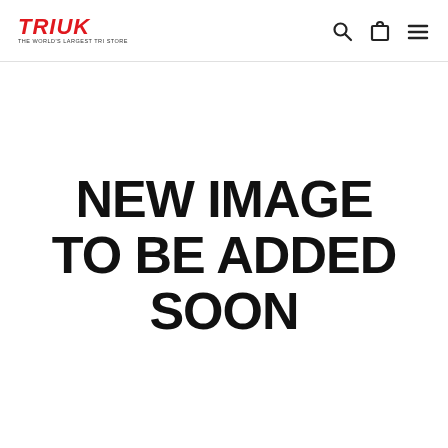TRI UK — THE WORLD'S LARGEST TRI STORE
[Figure (screenshot): Placeholder image with bold black text on white background reading 'NEW IMAGE TO BE ADDED SOON']